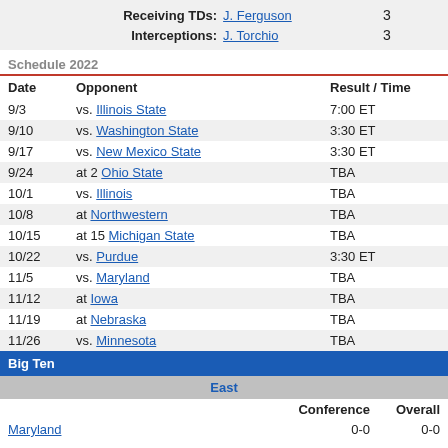| Receiving TDs: | J. Ferguson | 3 |
| Interceptions: | J. Torchio | 3 |
Schedule 2022
| Date | Opponent | Result / Time |
| --- | --- | --- |
| 9/3 | vs. Illinois State | 7:00 ET |
| 9/10 | vs. Washington State | 3:30 ET |
| 9/17 | vs. New Mexico State | 3:30 ET |
| 9/24 | at 2 Ohio State | TBA |
| 10/1 | vs. Illinois | TBA |
| 10/8 | at Northwestern | TBA |
| 10/15 | at 15 Michigan State | TBA |
| 10/22 | vs. Purdue | 3:30 ET |
| 11/5 | vs. Maryland | TBA |
| 11/12 | at Iowa | TBA |
| 11/19 | at Nebraska | TBA |
| 11/26 | vs. Minnesota | TBA |
|  | Conference | Overall |
| --- | --- | --- |
| Big Ten |  |  |
| East |  |  |
| Maryland | 0-0 | 0-0 |